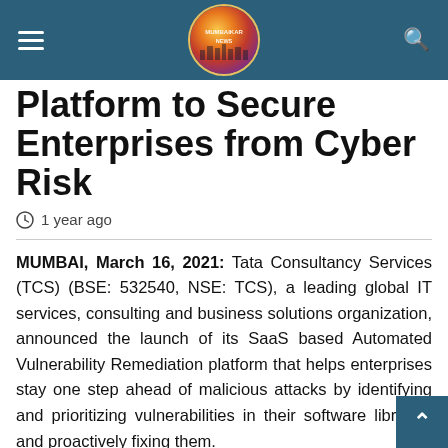Mumbaikar News
Platform to Secure Enterprises from Cyber Risk
1 year ago
MUMBAI, March 16, 2021: Tata Consultancy Services (TCS) (BSE: 532540, NSE: TCS), a leading global IT services, consulting and business solutions organization, announced the launch of its SaaS based Automated Vulnerability Remediation platform that helps enterprises stay one step ahead of malicious attacks by identifying and prioritizing vulnerabilities in their software libraries and proactively fixing them.